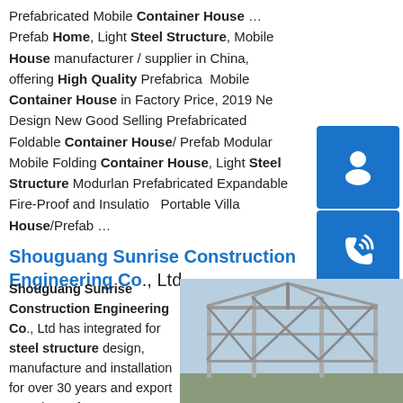Prefabricated Mobile Container House …Prefab Home, Light Steel Structure, Mobile House manufacturer / supplier in China, offering High Quality Prefabricated Mobile Container House in Factory Price, 2019 New Design New Good Selling Prefabricated Foldable Container House/ Prefab Modular Mobile Folding Container House, Light Steel Structure Modurlar Prefabricated Expandable Fire-Proof and Insulation Portable Villa House/Prefab …
Shouguang Sunrise Construction Engineering Co., Ltd.
Shouguang Sunrise Construction Engineering Co., Ltd has integrated for steel structure design, manufacture and installation for over 30 years and export experience for 12 years. We...
[Figure (photo): Photo of a steel structure frame building under construction, showing metal beams and framework.]